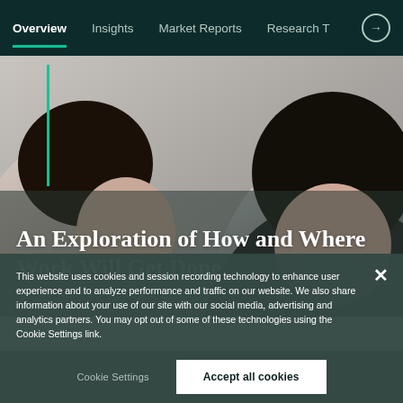Overview | Insights | Market Reports | Research T →
[Figure (photo): Two women photographed from above, looking downward, one on the left with a ponytail, one on the right in a dark blazer. A thin green vertical line accent on the left side.]
An Exploration of How and Where Work Will Get Done
This website uses cookies and session recording technology to enhance user experience and to analyze performance and traffic on our website. We also share information about your use of our site with our social media, advertising and analytics partners. You may opt out of some of these technologies using the Cookie Settings link.
Cookie Settings
Accept all cookies